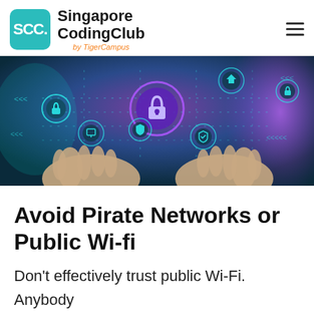SCC. Singapore CodingClub by TigerCampus
[Figure (photo): Person holding hands up under a holographic display of cybersecurity icons including padlocks, shields, and connected network nodes with blue and purple glowing light effects.]
Avoid Pirate Networks or Public Wi-fi
Don't effectively trust public Wi-Fi. Anybody malevolent in your environmental factors might